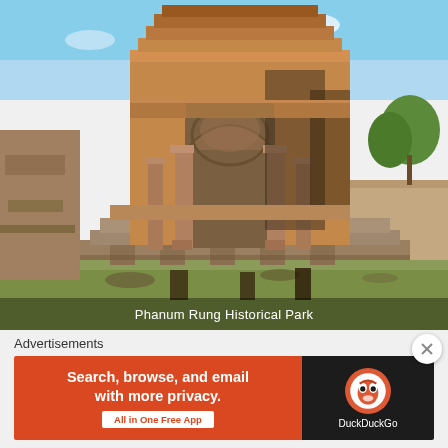[Figure (photo): Ancient stone temple ruins at Phanum Rung Historical Park, showing ornate carved sandstone columns, doorways with relief carvings, and weathered stone blocks under a blue sky with trees in background.]
Phanum Rung Historical Park
Advertisements
[Figure (screenshot): DuckDuckGo advertisement banner: orange left section reads 'Search, browse, and email with more privacy. All in One Free App', dark right section shows DuckDuckGo duck logo and brand name.]